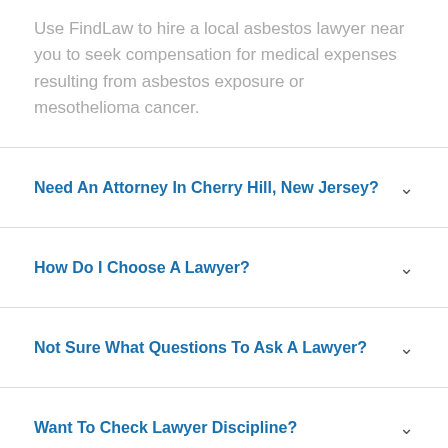Use FindLaw to hire a local asbestos lawyer near you to seek compensation for medical expenses resulting from asbestos exposure or mesothelioma cancer.
Need An Attorney In Cherry Hill, New Jersey?
How Do I Choose A Lawyer?
Not Sure What Questions To Ask A Lawyer?
Want To Check Lawyer Discipline?